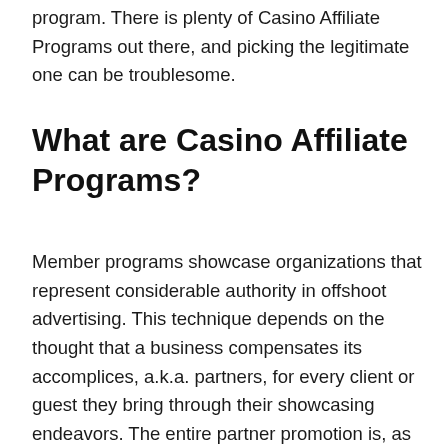program. There is plenty of Casino Affiliate Programs out there, and picking the legitimate one can be troublesome.
What are Casino Affiliate Programs?
Member programs showcase organizations that represent considerable authority in offshoot advertising. This technique depends on the thought that a business compensates its accomplices, a.k.a. partners, for every client or guest they bring through their showcasing endeavors. The entire partner promotion is, as a matter of fact, given the exhibition of subsidiaries. Subsidiary program isn't a term